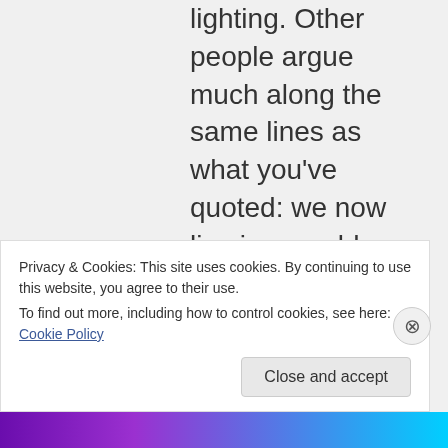lighting. Other people argue much along the same lines as what you've quoted: we now live in a world where, like it or not, GM material
Privacy & Cookies: This site uses cookies. By continuing to use this website, you agree to their use.
To find out more, including how to control cookies, see here: Cookie Policy